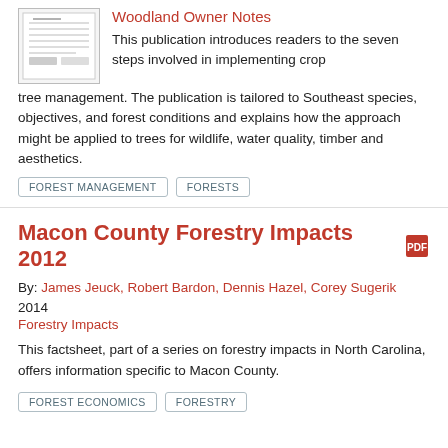Woodland Owner Notes
This publication introduces readers to the seven steps involved in implementing crop tree management. The publication is tailored to Southeast species, objectives, and forest conditions and explains how the approach might be applied to trees for wildlife, water quality, timber and aesthetics.
FOREST MANAGEMENT
FORESTS
Macon County Forestry Impacts 2012
By: James Jeuck, Robert Bardon, Dennis Hazel, Corey Sugerik
2014
Forestry Impacts
This factsheet, part of a series on forestry impacts in North Carolina, offers information specific to Macon County.
FOREST ECONOMICS
FORESTRY